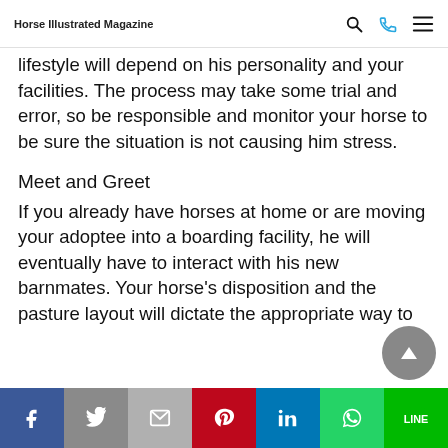Horse Illustrated Magazine
lifestyle will depend on his personality and your facilities. The process may take some trial and error, so be responsible and monitor your horse to be sure the situation is not causing him stress.
Meet and Greet
If you already have horses at home or are moving your adoptee into a boarding facility, he will eventually have to interact with his new barnmates. Your horse’s disposition and the pasture layout will dictate the appropriate way to